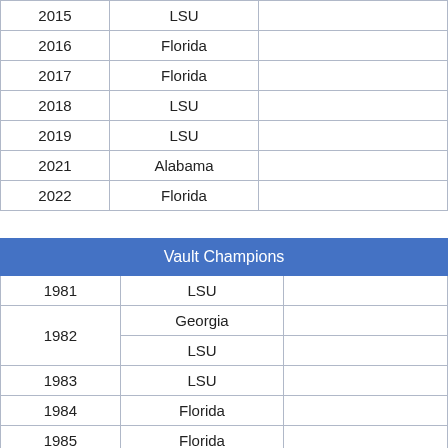| Year | Team |  |
| --- | --- | --- |
| 2015 | LSU |  |
| 2016 | Florida |  |
| 2017 | Florida |  |
| 2018 | LSU |  |
| 2019 | LSU |  |
| 2021 | Alabama |  |
| 2022 | Florida |  |
| Vault Champions |  |  |
| --- | --- | --- |
| 1981 | LSU |  |
| 1982 | Georgia |  |
| 1982 | LSU |  |
| 1983 | LSU |  |
| 1984 | Florida |  |
| 1985 | Florida |  |
| 1986 | Alabama |  |
| 1986 | Florida |  |
| 1986 | Georgia |  |